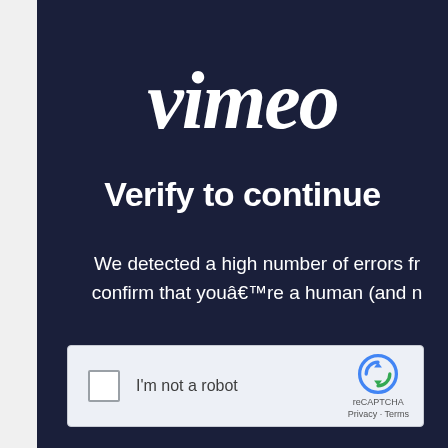[Figure (logo): Vimeo logo in white italic script on dark navy background]
Verify to continue
We detected a high number of errors fr confirm that youâ€™re a human (and n
[Figure (screenshot): reCAPTCHA widget with checkbox labeled 'I'm not a robot' and reCAPTCHA logo with Privacy and Terms links]